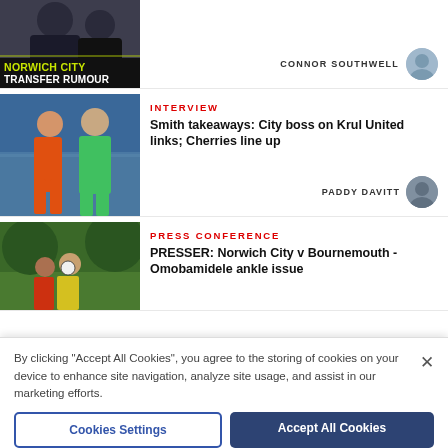[Figure (photo): Norwich City Transfer Rumour thumbnail with player image and yellow/black text overlay]
CONNOR SOUTHWELL
[Figure (photo): Two football players in orange and green kits standing on pitch]
INTERVIEW
Smith takeaways: City boss on Krul United links; Cherries line up
PADDY DAVITT
[Figure (photo): Football players heading ball, one in yellow Norwich City kit]
PRESS CONFERENCE
PRESSER: Norwich City v Bournemouth - Omobamidele ankle issue
By clicking "Accept All Cookies", you agree to the storing of cookies on your device to enhance site navigation, analyze site usage, and assist in our marketing efforts.